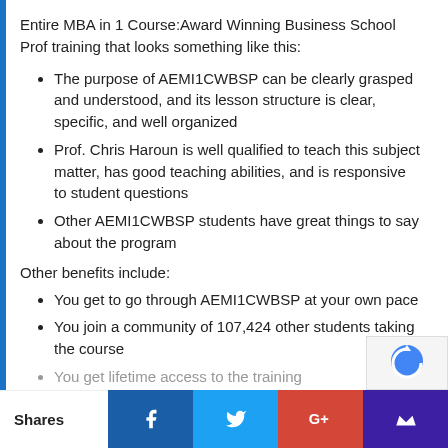Entire MBA in 1 Course:Award Winning Business School Prof training that looks something like this:
The purpose of AEMI1CWBSP can be clearly grasped and understood, and its lesson structure is clear, specific, and well organized
Prof. Chris Haroun is well qualified to teach this subject matter, has good teaching abilities, and is responsive to student questions
Other AEMI1CWBSP students have great things to say about the program
Other benefits include:
You get to go through AEMI1CWBSP at your own pace
You join a community of 107,424 other students taking the course
You get lifetime access to the training